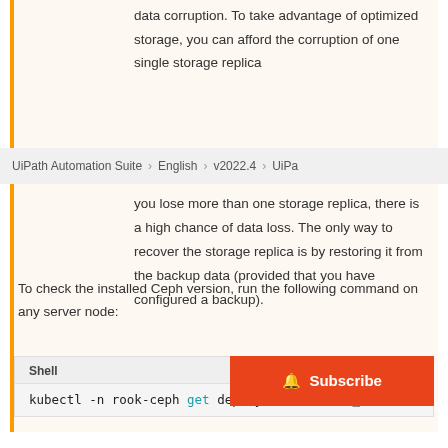data corruption. To take advantage of optimized storage, you can afford the corruption of one single storage replica
UiPath Automation Suite  >  English  >  v2022.4  >  UiPa
you lose more than one storage replica, there is a high chance of data loss. The only way to recover the storage replica is by restoring it from the backup data (provided that you have configured a backup).
To check the installed Ceph version, run the following command on any server node:
Shell  kubectl -n rook-ceph get deployment -l rook_cl